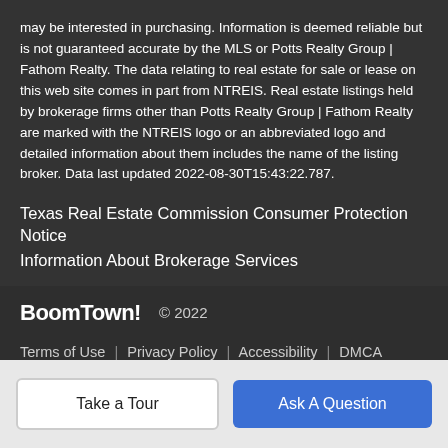may be interested in purchasing. Information is deemed reliable but is not guaranteed accurate by the MLS or Potts Realty Group | Fathom Realty. The data relating to real estate for sale or lease on this web site comes in part from NTREIS. Real estate listings held by brokerage firms other than Potts Realty Group | Fathom Realty are marked with the NTREIS logo or an abbreviated logo and detailed information about them includes the name of the listing broker. Data last updated 2022-08-30T15:43:22.787.
Texas Real Estate Commission Consumer Protection Notice
Information About Brokerage Services
BoomTown! © 2022
Terms of Use | Privacy Policy | Accessibility | DMCA | Listings Sitemap
Take a Tour
Ask A Question